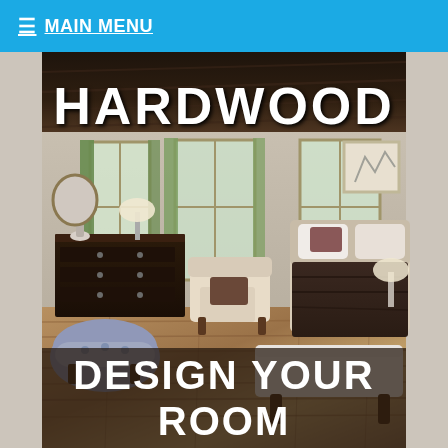☰ MAIN MENU
[Figure (photo): Bedroom interior with hardwood floors, showing a bed with dark bedding and white bench at foot, a patterned armchair, dark dresser, and large windows. Overlaid text reads 'HARDWOOD' at top and 'DESIGN YOUR ROOM' at bottom.]
HARDWOOD
DESIGN YOUR ROOM